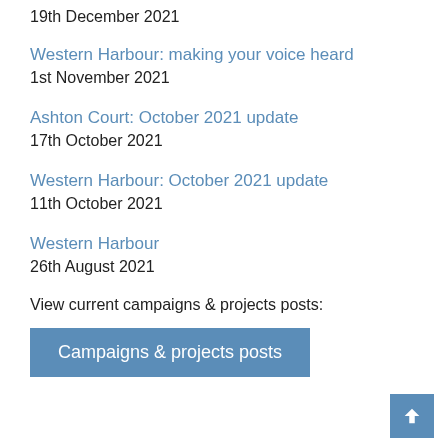19th December 2021
Western Harbour: making your voice heard
1st November 2021
Ashton Court: October 2021 update
17th October 2021
Western Harbour: October 2021 update
11th October 2021
Western Harbour
26th August 2021
View current campaigns & projects posts:
Campaigns & projects posts